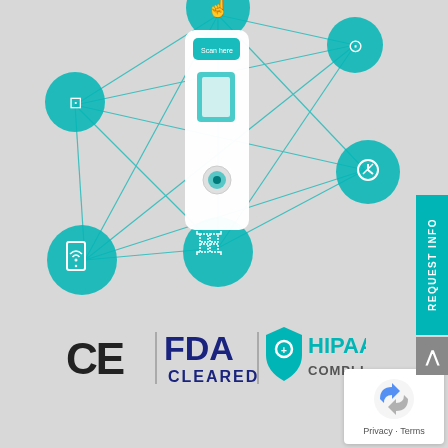[Figure (infographic): Medical device (thermometer/handheld scanner) connected by teal network nodes with icons including smartphone/wifi, hand touch, QR code scan, and other features, interconnected with lines forming a circular network diagram on a light grey background]
[Figure (infographic): REQUEST INFO vertical teal tab on right side]
[Figure (infographic): Compliance badges row: CE mark, FDA CLEARED (blue), HIPAA COMPLIANT (teal shield with plus/lock icon)]
[Figure (other): Google reCAPTCHA badge with Privacy - Terms text at bottom right]